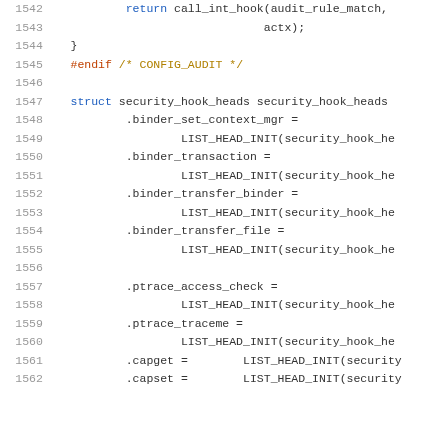[Figure (screenshot): Source code listing lines 1542-1562 showing C code with struct initialization for security hook heads]